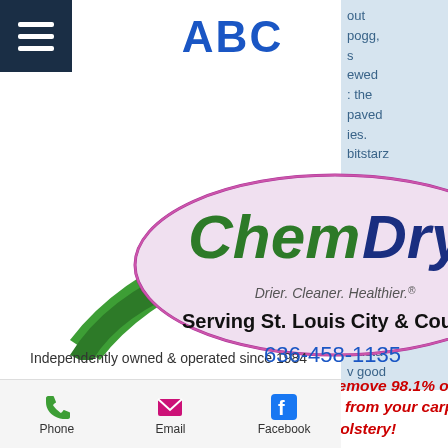[Figure (logo): Navigation hamburger menu icon (three white lines on dark navy background)]
ABC
[Figure (logo): Chem-Dry logo with green swoosh and oval - Drier. Cleaner. Healthier.]
Independently owned & operated since 1984
Chem-Dry can remove 98.1% of nonliving allergens from your carpets and upholstery!
Serving St. Louis City & County
636-458-1135
[Figure (infographic): Bottom navigation bar with Phone (green phone icon), Email (magenta envelope icon), Facebook (blue Facebook icon)]